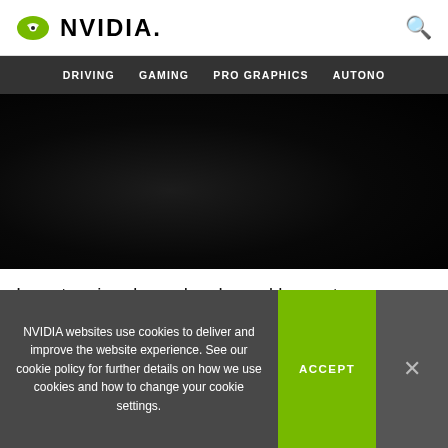NVIDIA. [search icon]
DRIVING   GAMING   PRO GRAPHICS   AUTONO
[Figure (photo): Dark/black image showing silhouettes of people in a dimly lit environment]
In a stunning demo, he showed how a team can beam into a highly realistic virtual environment to explore the design of a dazzling McLaren sports car.
NVIDIA websites use cookies to deliver and improve the website experience. See our cookie policy for further details on how we use cookies and how to change your cookie settings.
ACCEPT
×